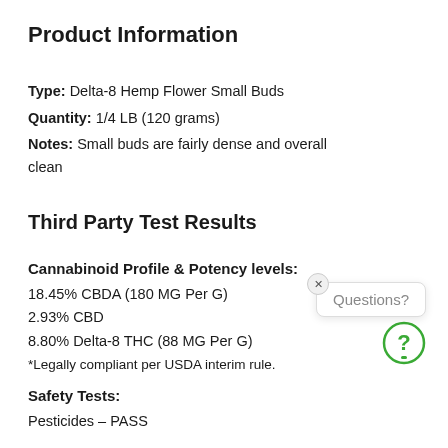Product Information
Type:  Delta-8 Hemp Flower Small Buds
Quantity: 1/4 LB (120 grams)
Notes:  Small buds are fairly dense and overall clean
Third Party Test Results
Cannabinoid Profile & Potency levels:
18.45% CBDA (180 MG Per G)
2.93% CBD
8.80% Delta-8 THC (88 MG Per G)
*Legally compliant per USDA interim rule.
Safety Tests:
Pesticides - PASS